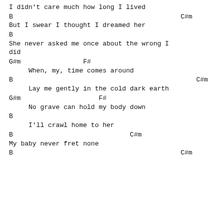I didn't care much how long I lived
B                                           C#m
But I swear I thought I dreamed her
B
She never asked me once about the wrong I did
G#m                F#
When, my, time comes around
B                                               C#m
Lay me gently in the cold dark earth
G#m                    F#
No grave can hold my body down
B
I'll crawl home to her
B                              C#m
My baby never fret none
B                                           C#m